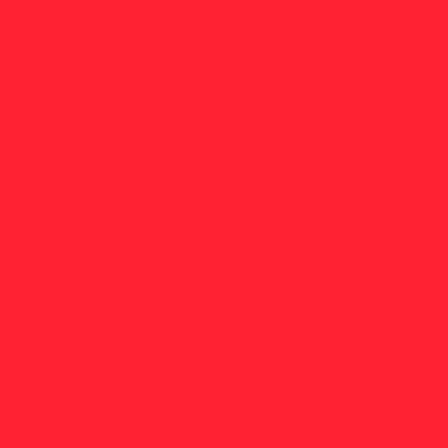The U.S. is second rank conducted by the Genev Switzerland. Singapore i
"Given that the financial is hardly surprising that financial market sophist weakness continues to b
UN plans for new world
You might not have hear and Development before think may well be the m the great financial crisis
Barack Obama accused of makin
Barack Obama is com policymakers during t